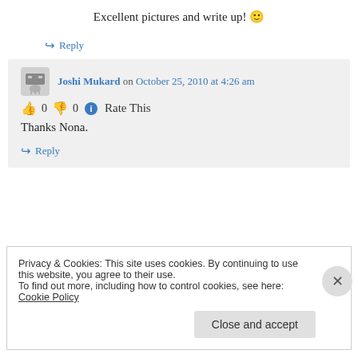Excellent pictures and write up! 🙂
↪ Reply
Joshi Mukard on October 25, 2010 at 4:26 am
👍 0 👎 0 ℹ Rate This
Thanks Nona.
↪ Reply
Privacy & Cookies: This site uses cookies. By continuing to use this website, you agree to their use. To find out more, including how to control cookies, see here: Cookie Policy
Close and accept